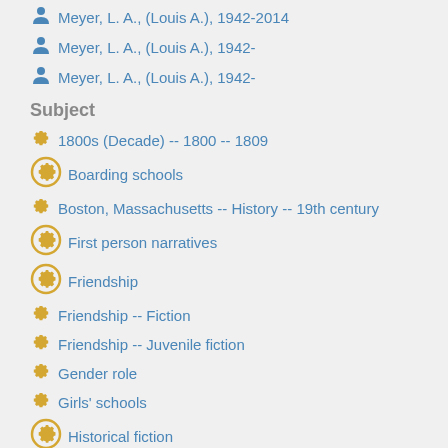Meyer, L. A., (Louis A.), 1942-2014
Meyer, L. A., (Louis A.), 1942-
Meyer, L. A., (Louis A.), 1942-
Subject
1800s (Decade) -- 1800 -- 1809
Boarding schools
Boston, Massachusetts -- History -- 19th century
First person narratives
Friendship
Friendship -- Fiction
Friendship -- Juvenile fiction
Gender role
Girls' schools
Historical fiction
Nonconformity
Orphans -- Fiction
Orphans -- Juvenile fiction